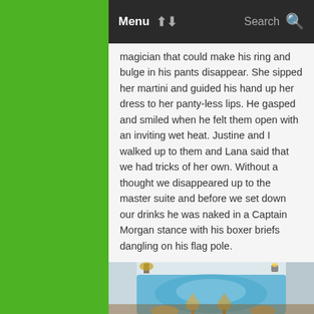Menu  Search
magician that could make his ring and bulge in his pants disappear. She sipped her martini and guided his hand up her dress to her panty-less lips. He gasped and smiled when he felt them open with an inviting wet heat. Justine and I walked up to them and Lana said that we had tricks of her own. Without a thought we disappeared up to the master suite and before we set down our drinks he was naked in a Captain Morgan stance with his boxer briefs dangling on his flag pole.
[Figure (photo): A luxury whirlpool bathtub with blue LED lighting, two champagne glasses in foreground, flowers and candles on the tub surround, viewed from above.]